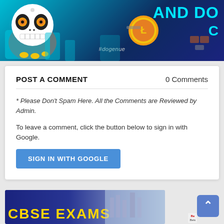[Figure (illustration): Colorful banner with cartoon skull/daruma doll character on left, gold Litecoin coin on right, text 'AND DO' and 'C?' in cyan on dark blue background, #dogenue hashtag at bottom center]
POST A COMMENT
0 Comments
* Please Don't Spam Here. All the Comments are Reviewed by Admin.
To leave a comment, click the button below to sign in with Google.
SIGN IN WITH GOOGLE
[Figure (illustration): Bottom banner showing 'CBSE EXAMS' text in yellow on dark blue background, with light blue building/classroom image on right side]